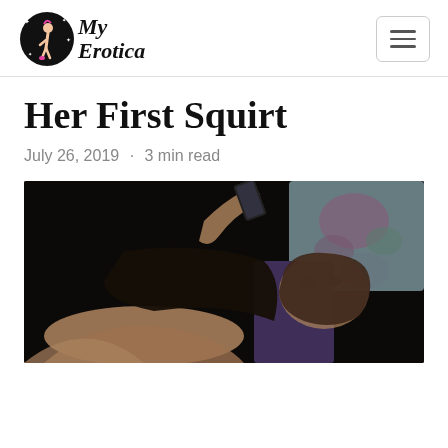My Erotica
Her First Squirt
July 26, 2019 · 3 min read
[Figure (photo): Young woman lying on a dark couch, holding a phone above her face, with a floral pillow in the background. Artistic boudoir-style photograph in dark tones.]